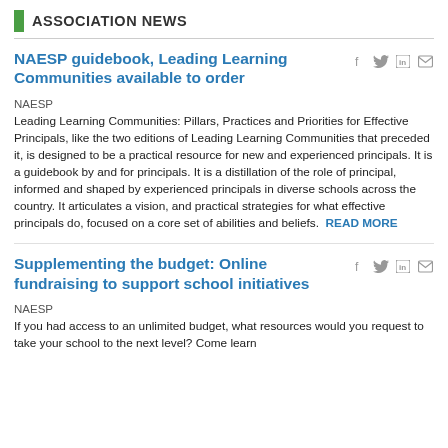ASSOCIATION NEWS
NAESP guidebook, Leading Learning Communities available to order
NAESP
Leading Learning Communities: Pillars, Practices and Priorities for Effective Principals, like the two editions of Leading Learning Communities that preceded it, is designed to be a practical resource for new and experienced principals. It is a guidebook by and for principals. It is a distillation of the role of principal, informed and shaped by experienced principals in diverse schools across the country. It articulates a vision, and practical strategies for what effective principals do, focused on a core set of abilities and beliefs.  READ MORE
Supplementing the budget: Online fundraising to support school initiatives
NAESP
If you had access to an unlimited budget, what resources would you request to take your school to the next level? Come learn